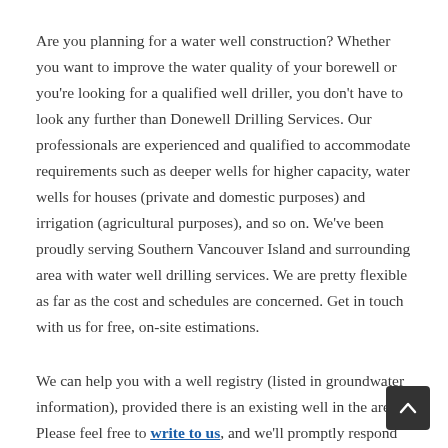Are you planning for a water well construction? Whether you want to improve the water quality of your borewell or you're looking for a qualified well driller, you don't have to look any further than Donewell Drilling Services. Our professionals are experienced and qualified to accommodate requirements such as deeper wells for higher capacity, water wells for houses (private and domestic purposes) and irrigation (agricultural purposes), and so on. We've been proudly serving Southern Vancouver Island and surrounding area with water well drilling services. We are pretty flexible as far as the cost and schedules are concerned. Get in touch with us for free, on-site estimations.
We can help you with a well registry (listed in groundwater information), provided there is an existing well in the area. Please feel free to write to us, and we'll promptly respond